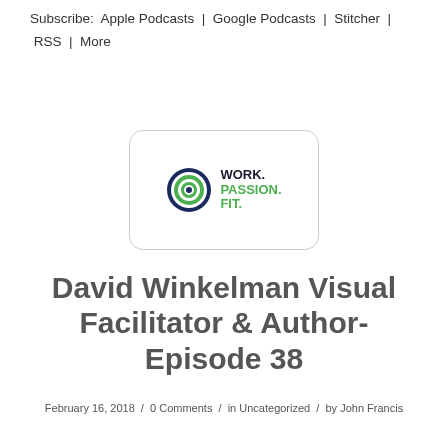Subscribe: Apple Podcasts | Google Podcasts | Stitcher | RSS | More
[Figure (logo): Work. Passion. Fit. logo with concentric circles icon]
David Winkelman Visual Facilitator & Author- Episode 38
February 16, 2018 / 0 Comments / in Uncategorized / by John Francis